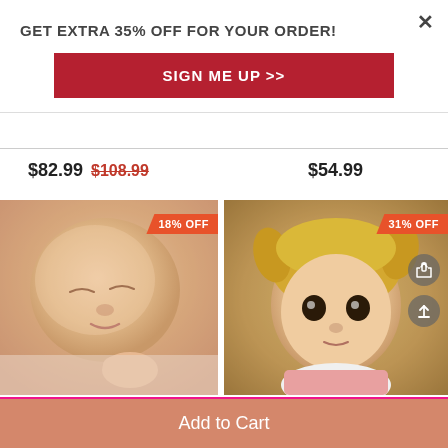× (close button)
GET EXTRA 35% OFF FOR YOUR ORDER!
SIGN ME UP >>
$82.99  $108.99    $54.99
[Figure (photo): Realistic sleeping newborn reborn doll with 18% OFF badge]
[Figure (photo): Realistic blonde toddler reborn doll with pigtails and 31% OFF badge]
Buy $50.00 more and save $5.00
Add to Cart